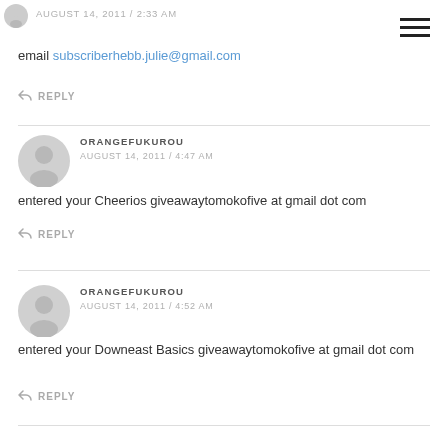AUGUST 14, 2011 / 2:33 AM
email subscriberhebb.julie@gmail.com
↩ REPLY
ORANGEFUKUROU
AUGUST 14, 2011 / 4:47 AM
entered your Cheerios giveawaytomokofive at gmail dot com
↩ REPLY
ORANGEFUKUROU
AUGUST 14, 2011 / 4:52 AM
entered your Downeast Basics giveawaytomokofive at gmail dot com
↩ REPLY